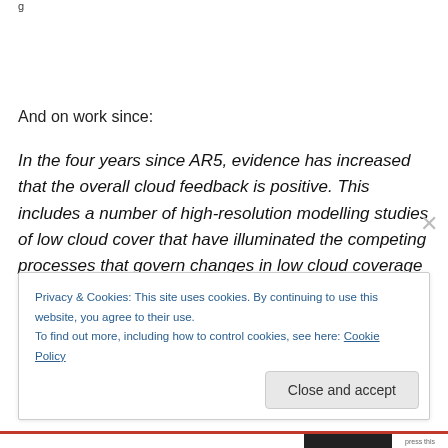g
And on work since:
In the four years since AR5, evidence has increased that the overall cloud feedback is positive. This includes a number of high-resolution modelling studies of low cloud cover that have illuminated the competing processes that govern changes in low cloud coverage and thickness, and
Privacy & Cookies: This site uses cookies. By continuing to use this website, you agree to their use.
To find out more, including how to control cookies, see here: Cookie Policy
Close and accept